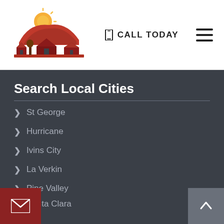[Figure (logo): Roofing company logo with sun and houses in orange, red, and brown colors]
📱 CALL TODAY
[Figure (illustration): Hamburger menu icon with three horizontal lines]
Search Local Cities
St George
Hurricane
Ivins City
La Verkin
Pine Valley
Santa Clara